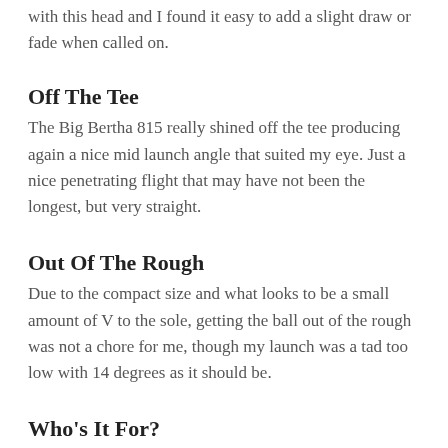with this head and I found it easy to add a slight draw or fade when called on.
Off The Tee
The Big Bertha 815 really shined off the tee producing again a nice mid launch angle that suited my eye. Just a nice penetrating flight that may have not been the longest, but very straight.
Out Of The Rough
Due to the compact size and what looks to be a small amount of V to the sole, getting the ball out of the rough was not a chore for me, though my launch was a tad too low with 14 degrees as it should be.
Who's It For?
The Big Bertha 815 is more of a players club that